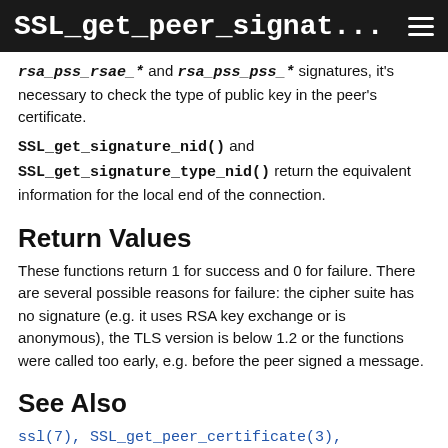SSL_get_peer_signat...
rsa_pss_rsae_* and rsa_pss_pss_* signatures, it's necessary to check the type of public key in the peer's certificate.
SSL_get_signature_nid() and SSL_get_signature_type_nid() return the equivalent information for the local end of the connection.
Return Values
These functions return 1 for success and 0 for failure. There are several possible reasons for failure: the cipher suite has no signature (e.g. it uses RSA key exchange or is anonymous), the TLS version is below 1.2 or the functions were called too early, e.g. before the peer signed a message.
See Also
ssl(7), SSL_get_peer_certificate(3),